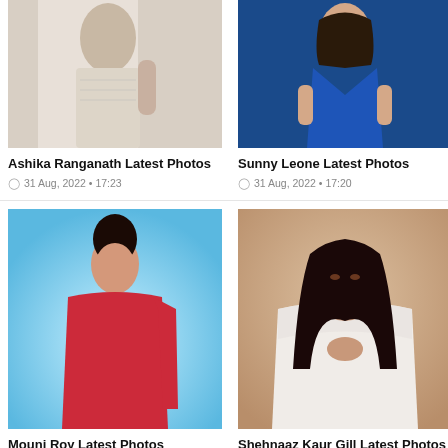[Figure (photo): Ashika Ranganath in a white embroidered outfit]
Ashika Ranganath Latest Photos
31 Aug, 2022 • 17:23
[Figure (photo): Sunny Leone in a blue satin dress]
Sunny Leone Latest Photos
31 Aug, 2022 • 17:20
[Figure (photo): Mouni Roy in a red fitted dress against a blue background]
Mouni Roy Latest Photos
[Figure (photo): Shehnaaz Kaur Gill in a white embellished outfit]
Shehnaaz Kaur Gill Latest Photos